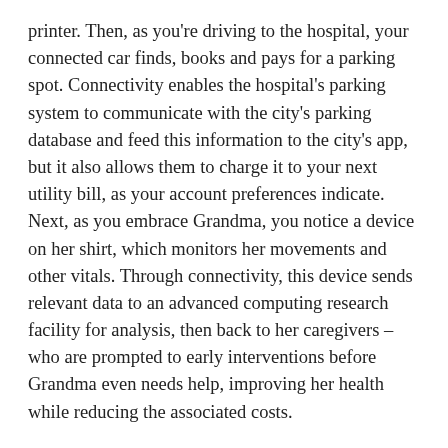printer. Then, as you're driving to the hospital, your connected car finds, books and pays for a parking spot. Connectivity enables the hospital's parking system to communicate with the city's parking database and feed this information to the city's app, but it also allows them to charge it to your next utility bill, as your account preferences indicate. Next, as you embrace Grandma, you notice a device on her shirt, which monitors her movements and other vitals. Through connectivity, this device sends relevant data to an advanced computing research facility for analysis, then back to her caregivers – who are prompted to early interventions before Grandma even needs help, improving her health while reducing the associated costs.
This is the Internet of Things (IoT), where connectivity enables millions of sensors and devices to produce technological advances for society. And this future is not